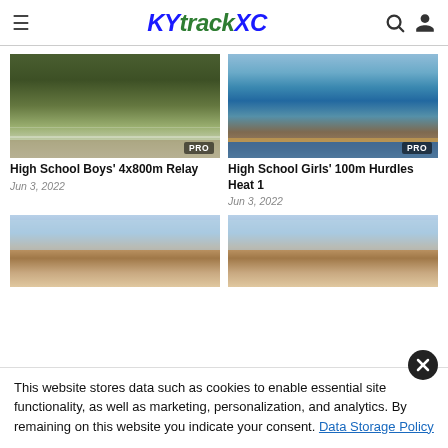KYtrackXC
[Figure (photo): Track field with athletes, evening lighting, PRO badge]
High School Boys' 4x800m Relay
Jun 3, 2022
[Figure (photo): Track with runners at start line, building in background, PRO badge]
High School Girls' 100m Hurdles Heat 1
Jun 3, 2022
[Figure (photo): Building exterior with blue sky, partial view]
[Figure (photo): Building exterior with blue sky, partial view]
This website stores data such as cookies to enable essential site functionality, as well as marketing, personalization, and analytics. By remaining on this website you indicate your consent. Data Storage Policy